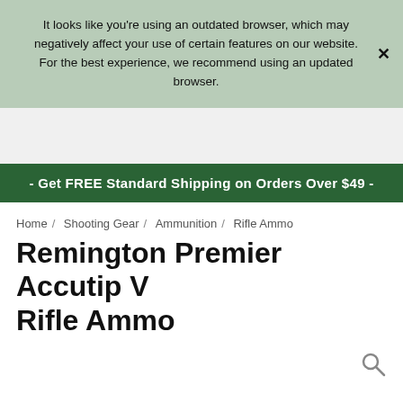It looks like you're using an outdated browser, which may negatively affect your use of certain features on our website. For the best experience, we recommend using an updated browser.
- Get FREE Standard Shipping on Orders Over $49 -
Home / Shooting Gear / Ammunition / Rifle Ammo
Remington Premier Accutip V Rifle Ammo
[Figure (photo): Partial product image visible at bottom of page]